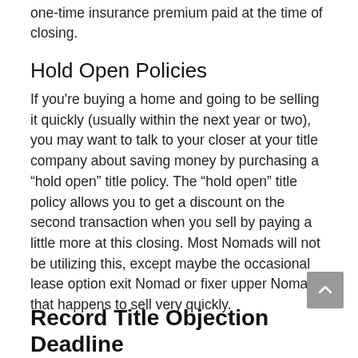one-time insurance premium paid at the time of closing.
Hold Open Policies
If you're buying a home and going to be selling it quickly (usually within the next year or two), you may want to talk to your closer at your title company about saving money by purchasing a “hold open” title policy. The “hold open” title policy allows you to get a discount on the second transaction when you sell by paying a little more at this closing. Most Nomads will not be utilizing this, except maybe the occasional lease option exit Nomad or fixer upper Nomad that happens to sell very quickly.
Record Title Objection Deadline